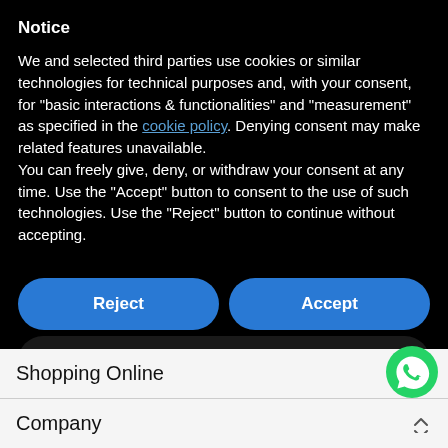Notice
We and selected third parties use cookies or similar technologies for technical purposes and, with your consent, for "basic interactions & functionalities" and "measurement" as specified in the cookie policy. Denying consent may make related features unavailable.
You can freely give, deny, or withdraw your consent at any time. Use the "Accept" button to consent to the use of such technologies. Use the "Reject" button to continue without accepting.
[Figure (screenshot): Two blue rounded buttons side by side: 'Reject' and 'Accept']
[Figure (screenshot): Dark rounded button labeled 'Learn more and customize']
Shopping Online
Company